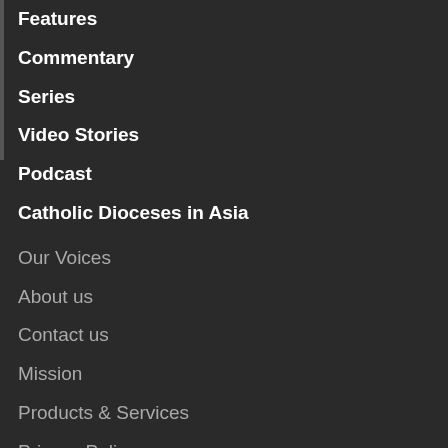Features
Commentary
Series
Video Stories
Podcast
Catholic Dioceses in Asia
Our Voices
About us
Contact us
Mission
Products & Services
Privacy Policy
Specials